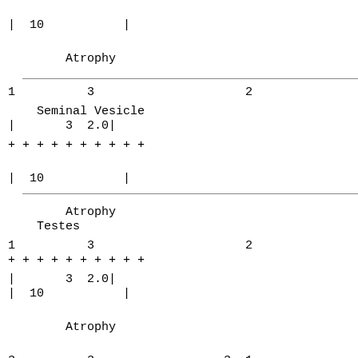| |  10           | |
|         Atrophy                                         | |
| 1          3                     2 |
| |       3  2.0| |
| Seminal Vesicle |
| --- |
| + + + + + + + + + + |
| |  10           | |
|         Atrophy                                         | |
| 1          3                     2 |
| |       3  2.0| |
| Testes |
| --- |
| + + + + + + + + + + |
| |  10           | |
|         Atrophy                                         | |
| 3          3                  3  1 |